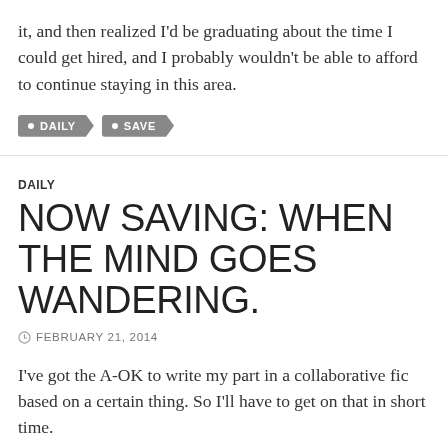it, and then realized I'd be graduating about the time I could get hired, and I probably wouldn't be able to afford to continue staying in this area.
DAILY
SAVE
DAILY
NOW SAVING: WHEN THE MIND GOES WANDERING.
FEBRUARY 21, 2014
I've got the A-OK to write my part in a collaborative fic based on a certain thing. So I'll have to get on that in short time.